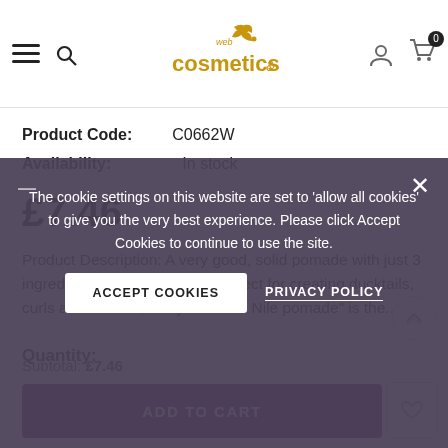web cosmetics (logo)
Product Code: C0662W
Availability: In stock
£7.46
Product Description: A very good, solid pomade with just 3 ingredients. This pomade is perfect for creating ducktails, curls and smooth, wavy hair. "Nu Nile pomade" is the...
Quantity:
Subtotal: £7.46
ADD TO CART
The cookie settings on this website are set to 'allow all cookies' to give you the very best experience. Please click Accept Cookies to continue to use the site.
ACCEPT COOKIES
PRIVACY POLICY